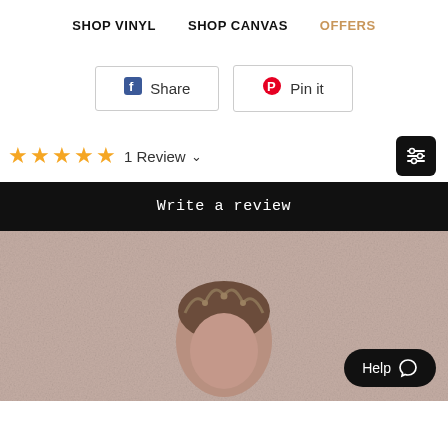SHOP VINYL   SHOP CANVAS   OFFERS
[Figure (other): Facebook Share button and Pinterest Pin it button]
★★★★★ 1 Review ∨
Write a review
[Figure (photo): Photo of a child wearing a decorative tiara crown, with a soft pink/beige textured background. A Help chat button is visible in the bottom right corner.]